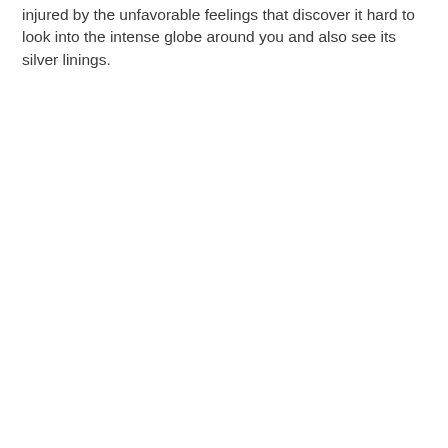injured by the unfavorable feelings that discover it hard to look into the intense globe around you and also see its silver linings.